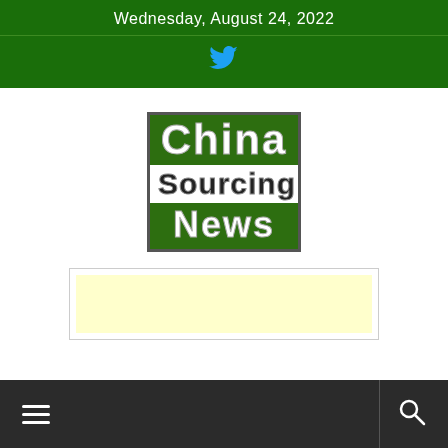Wednesday, August 24, 2022
[Figure (logo): Twitter bird icon in cyan/blue color on dark green background]
[Figure (logo): China Sourcing News logo: green box with 'China' in white on green top, 'Sourcing' in dark on white middle, 'News' in white on green bottom]
[Figure (other): Advertisement placeholder box with light yellow background]
Navigation bar with hamburger menu icon on left and search icon on right